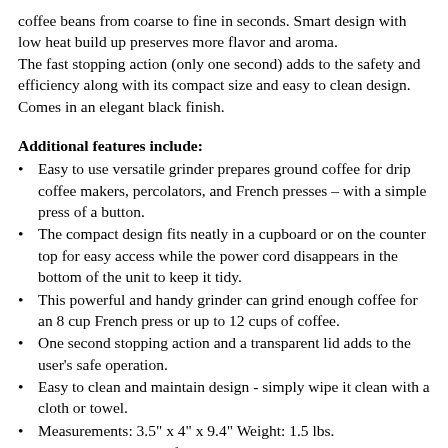coffee beans from coarse to fine in seconds. Smart design with low heat build up preserves more flavor and aroma.
The fast stopping action (only one second) adds to the safety and efficiency along with its compact size and easy to clean design. Comes in an elegant black finish.
Additional features include:
Easy to use versatile grinder prepares ground coffee for drip coffee makers, percolators, and French presses – with a simple press of a button.
The compact design fits neatly in a cupboard or on the counter top for easy access while the power cord disappears in the bottom of the unit to keep it tidy.
This powerful and handy grinder can grind enough coffee for an 8 cup French press or up to 12 cups of coffee.
One second stopping action and a transparent lid adds to the user’s safe operation.
Easy to clean and maintain design - simply wipe it clean with a cloth or towel.
Measurements: 3.5” x 4” x 9.4” Weight: 1.5 lbs.
Comes in excellent gift box which would make an awesome presentation in any cafe, gourmet specialty store, coffee bar, whole bean coffee presentation or small electrics presentation.